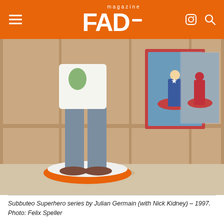FAD magazine
[Figure (photo): A person in a white t-shirt and jeans standing on a large orange Subbuteo-style base/disc in an art gallery, with two framed photographs on the wall behind showing Subbuteo superhero figures on red bases. The gallery walls are panelled wood/beige tone.]
Subbuteo Superhero series by Julian Germain (with Nick Kidney) – 1997. Photo: Felix Speller